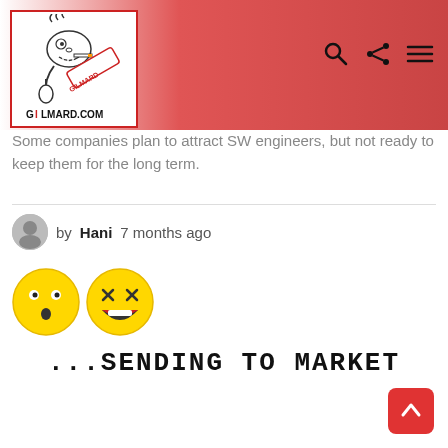[Figure (logo): Gilmard.com logo — cartoon character smoking with text GILMARD.COM]
[Figure (infographic): Navigation icons: search (magnifying glass), share, and hamburger menu]
Some companies plan to attract SW engineers, but not ready to keep them for the long term.
by Hani 7 months ago
[Figure (illustration): Two emoji faces: a surprised/curious face and a laughing face with open mouth]
...SENDING TO MARKET
[Figure (illustration): Red back-to-top button with upward arrow]